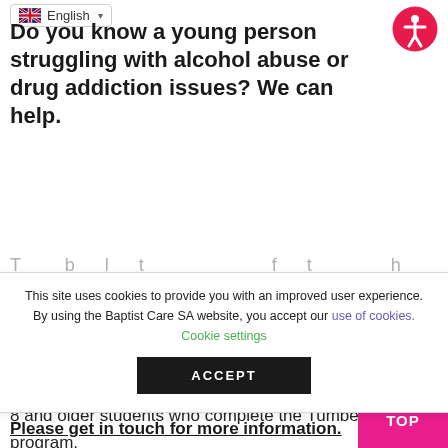SACE accredited
Do you know a young person struggling with alcohol abuse or drug addiction issues? We can help.
This site uses cookies to provide you with an improved user experience. By using the Baptist Care SA website, you accept our use of cookies. Cookie settings ACCEPT
20 SACE Stage 1 credit points can be obtained by Year 8 and older students who complete the Tumbelin program.
Please get in touch for more information.